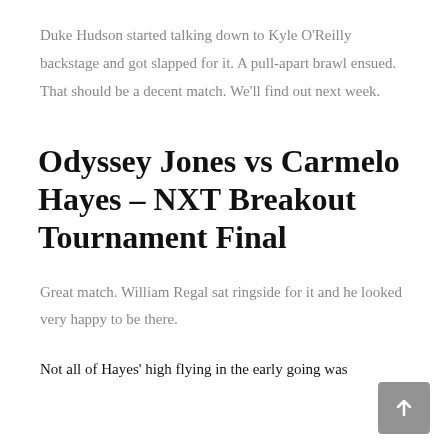Duke Hudson started talking down to Kyle O'Reilly backstage and got slapped for it. A pull-apart brawl ensued. That should be a decent match. We'll find out next week.
Odyssey Jones vs Carmelo Hayes – NXT Breakout Tournament Final
Great match. William Regal sat ringside for it and he looked very happy to be there.
Not all of Hayes' high flying in the early going was